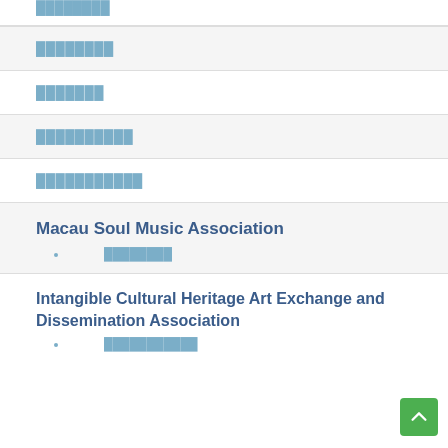████████
████████
███████
██████████
███████████
Macau Soul Music Association
████████
Intangible Cultural Heritage Art Exchange and Dissemination Association
███████████